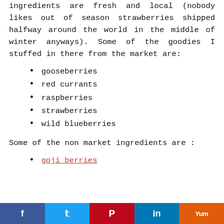ingredients are fresh and local (nobody likes out of season strawberries shipped halfway around the world in the middle of winter anyways). Some of the goodies I stuffed in there from the market are:
gooseberries
red currants
raspberries
strawberries
wild blueberries
Some of the non market ingredients are :
goji berries